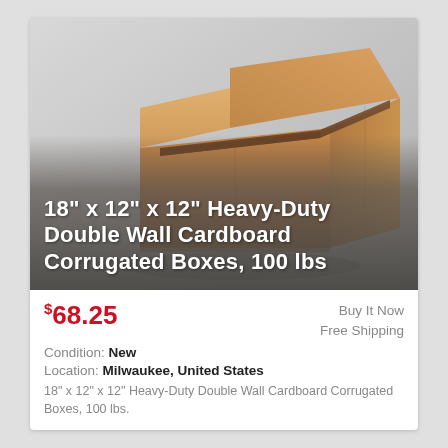[Figure (photo): Open corrugated cardboard box, brown, viewed from a slight angle above, showing open flaps. Background fades to grey at bottom with overlaid white bold text.]
18" x 12" x 12" Heavy-Duty Double Wall Cardboard Corrugated Boxes, 100 lbs
$68.25
Buy It Now
Free Shipping
Condition: New
Location: Milwaukee, United States
18" x 12" x 12" Heavy-Duty Double Wall Cardboard Corrugated Boxes, 100 lbs.